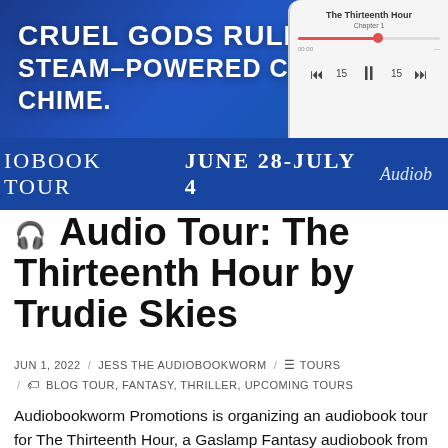[Figure (illustration): Audiobook tour banner with dark blue background, text 'CRUEL GODS RULE THE STEAM-POWERED CITY OF CHIME.' on the left, a phone/audio player mockup on the right, and a bottom strip reading 'AUDIOBOOK TOUR JUNE 28-JULY 4 Audiob']
🎧 Audio Tour: The Thirteenth Hour by Trudie Skies
JUN 1, 2022 / JESS THE AUDIOBOOKWORM / TOURS
/ BLOG TOUR, FANTASY, THRILLER, UPCOMING TOURS
Audiobookworm Promotions is organizing an audiobook tour for The Thirteenth Hour, a Gaslamp Fantasy audiobook from Author Trudie Skies. The tour will run from Jun. 28th to July 4th. Signups close at ...